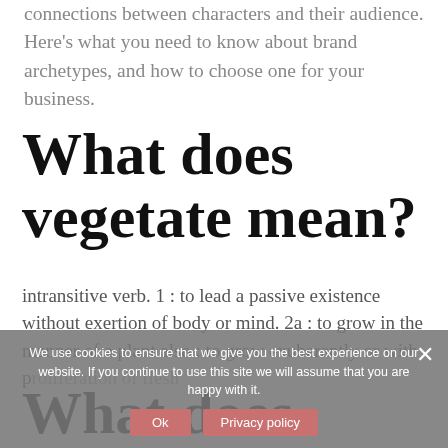connections between characters and their audience. Here's what you need to know about brand archetypes, and how to choose one for your business.
What does vegetate mean?
intransitive verb. 1 : to lead a passive existence without exertion of body or mind. 2a : to grow in the manner of a plant also : to grow exuberantly or with proliferation of flesh
What does enlarge
We use cookies to ensure that we give you the best experience on our website. If you continue to use this site we will assume that you are happy with it.